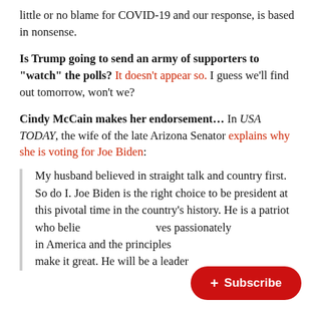little or no blame for COVID-19 and our response, is based in nonsense.
Is Trump going to send an army of supporters to "watch" the polls? It doesn't appear so. I guess we'll find out tomorrow, won't we?
Cindy McCain makes her endorsement… In USA TODAY, the wife of the late Arizona Senator explains why she is voting for Joe Biden:
My husband believed in straight talk and country first. So do I. Joe Biden is the right choice to be president at this pivotal time in the country's history. He is a patriot who believes passionately in America and the principles that have always make it great. He will be a leader whom an
+ Subscribe